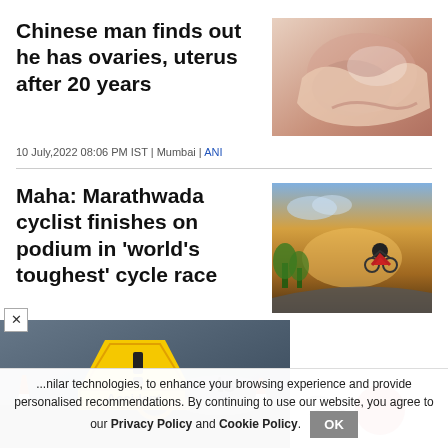Chinese man finds out he has ovaries, uterus after 20 years
[Figure (photo): Person holding their abdomen/stomach area, lying on white bedding]
10 July,2022 08:06 PM IST | Mumbai | ANI
Maha: Marathwada cyclist finishes on podium in 'world's toughest' cycle race
[Figure (photo): Cyclist riding on a road at sunset with golden sky]
[Figure (photo): Road accident warning sign with caution triangle and 'Accident' text on road surface]
...similar technologies, to enhance your browsing experience and provide personalised recommendations. By continuing to use our website, you agree to our Privacy Policy and Cookie Policy.
OK